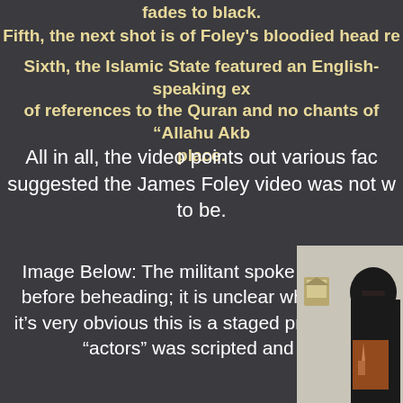fades to black.
Fifth, the next shot is of Foley's bloodied head re
Sixth, the Islamic State featured an English-speaking ex of references to the Quran and no chants of "Allahu Akb place.
All in all, the video points out various fac suggested the James Foley video was not w to be.
Image Below: The militant spoke English w before beheading; it is unclear where the vi it's very obvious this is a staged production a "actors" was scripted and no
[Figure (photo): A masked figure dressed in black holding a knife, with a small image/icon visible on the wall behind, against a light background.]